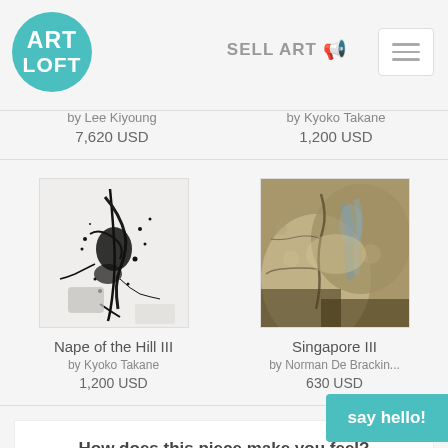[Figure (logo): Art Loft circular teal logo]
SELL ART
by Lee Kiyoung
7,620 USD
by Kyoko Takane
1,200 USD
[Figure (photo): Nape of the Hill III — black ink splatter painting on white background]
Nape of the Hill III
by Kyoko Takane
1,200 USD
[Figure (photo): Singapore III — textured cracked stone wall painting in earth tones with blue]
Singapore III
by Norman De Brackin...
630 USD
How does this piece make you feel?
LOGIN TO WRITE A COMM